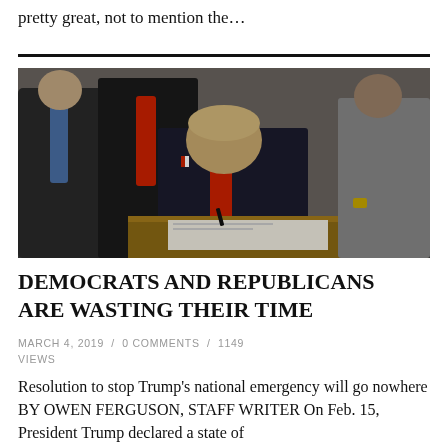pretty great, not to mention the…
[Figure (photo): Person in dark suit with red tie signing a document at a desk, surrounded by other people standing behind]
DEMOCRATS AND REPUBLICANS ARE WASTING THEIR TIME
MARCH 4, 2019  /  0 COMMENTS  /  1149 VIEWS
Resolution to stop Trump's national emergency will go nowhere BY OWEN FERGUSON, STAFF WRITER On Feb. 15, President Trump declared a state of